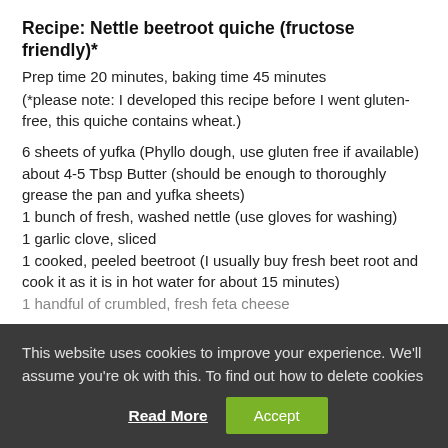Recipe: Nettle beetroot quiche (fructose friendly)*
Prep time 20 minutes, baking time 45 minutes
(*please note: I developed this recipe before I went gluten-free, this quiche contains wheat.)
6 sheets of yufka (Phyllo dough, use gluten free if available)
about 4-5 Tbsp Butter (should be enough to thoroughly grease the pan and yufka sheets)
1 bunch of fresh, washed nettle (use gloves for washing)
1 garlic clove, sliced
1 cooked, peeled beetroot (I usually buy fresh beet root and cook it as it is in hot water for about 15 minutes)
1 handful of crumbled, fresh feta cheese
This website uses cookies to improve your experience. We'll assume you're ok with this. To find out how to delete cookies
Read More   Accept